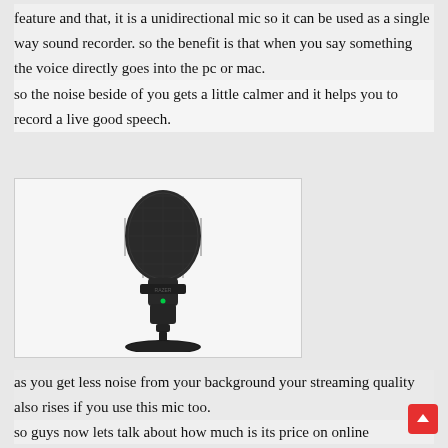feature and that, it is a unidirectional mic so it can be used as a single way sound recorder. so the benefit is that when you say something the voice directly goes into the pc or mac.
so the noise beside of you gets a little calmer and it helps you to record a live good speech.
[Figure (photo): A black USB condenser microphone (Razer Seiren Mini style) on a small stand/base, photographed on a white background inside a light gray bordered box.]
as you get less noise from your background your streaming quality also rises if you use this mic too.
so guys now lets talk about how much is its price on online